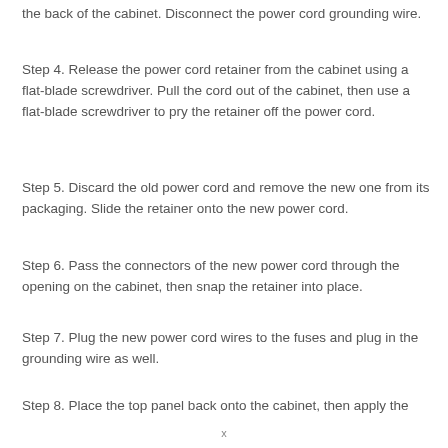the back of the cabinet. Disconnect the power cord grounding wire.
Step 4. Release the power cord retainer from the cabinet using a flat-blade screwdriver. Pull the cord out of the cabinet, then use a flat-blade screwdriver to pry the retainer off the power cord.
Step 5. Discard the old power cord and remove the new one from its packaging. Slide the retainer onto the new power cord.
Step 6. Pass the connectors of the new power cord through the opening on the cabinet, then snap the retainer into place.
Step 7. Plug the new power cord wires to the fuses and plug in the grounding wire as well.
Step 8. Place the top panel back onto the cabinet, then apply the
x